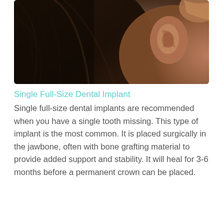[Figure (photo): Close-up photograph of a person's ear and dark hair against a dark background, with warm skin tones visible.]
Single Full-Size Dental Implant
Single full-size dental implants are recommended when you have a single tooth missing. This type of implant is the most common. It is placed surgically in the jawbone, often with bone grafting material to provide added support and stability. It will heal for 3-6 months before a permanent crown can be placed.